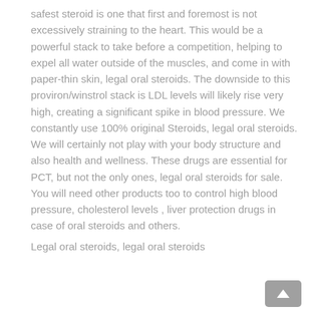safest steroid is one that first and foremost is not excessively straining to the heart. This would be a powerful stack to take before a competition, helping to expel all water outside of the muscles, and come in with paper-thin skin, legal oral steroids. The downside to this proviron/winstrol stack is LDL levels will likely rise very high, creating a significant spike in blood pressure. We constantly use 100% original Steroids, legal oral steroids. We will certainly not play with your body structure and also health and wellness. These drugs are essential for PCT, but not the only ones, legal oral steroids for sale. You will need other products too to control high blood pressure, cholesterol levels , liver protection drugs in case of oral steroids and others.
Legal oral steroids, legal oral steroids